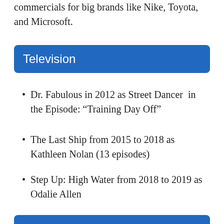commercials for big brands like Nike, Toyota, and Microsoft.
Television
Dr. Fabulous in 2012 as Street Dancer in the Episode: “Training Day Off”
The Last Ship from 2015 to 2018 as Kathleen Nolan (13 episodes)
Step Up: High Water from 2018 to 2019 as Odalie Allen
Film
300: Rise of an Empire in 2014 as 13-